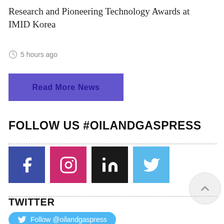Research and Pioneering Technology Awards at IMID Korea
5 hours ago
Read More News
FOLLOW US #OILANDGASPRESS
[Figure (infographic): Four social media icons: Facebook (blue), Instagram (pink), LinkedIn (black), Twitter (light blue)]
TWITTER
Follow @oilandgaspress